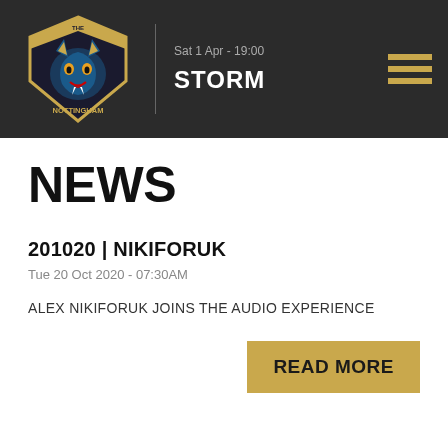Sat 1 Apr - 19:00 | STORM
NEWS
201020 | NIKIFORUK
Tue 20 Oct 2020 - 07:30AM
ALEX NIKIFORUK JOINS THE AUDIO EXPERIENCE
READ MORE